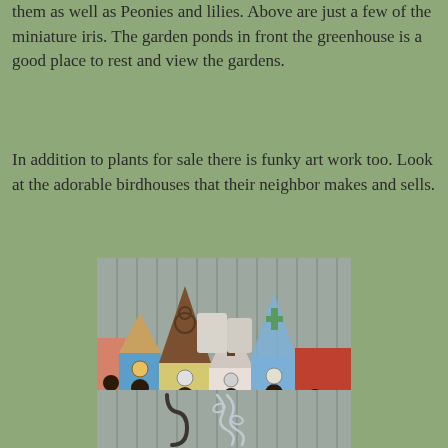them as well as Peonies and lilies. Above are just a few of the miniature iris. The garden ponds in front the greenhouse is a good place to rest and view the gardens.
In addition to plants for sale there is funky art work too. Look at the adorable birdhouses that their neighbor makes and sells.
[Figure (photo): Photo of decorative handmade birdhouses in various colors (blue, yellow, white) with painted designs including crosses and flowers, displayed on a wooden surface against a corrugated metal background.]
[Figure (photo): Partial photo showing decorative metal garden art with scrollwork/curly wire designs hanging against a corrugated metal background.]